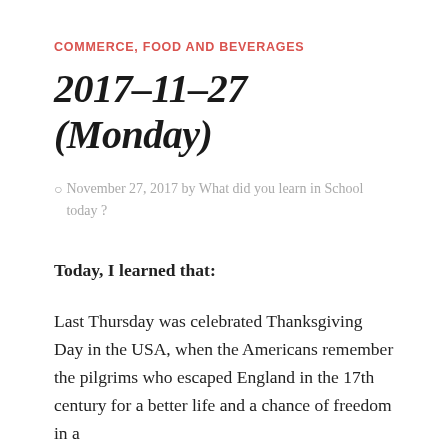COMMERCE, FOOD AND BEVERAGES
2017–11–27 (Monday)
⊙ November 27, 2017 by What did you learn in School today ?
Today, I learned that:
Last Thursday was celebrated Thanksgiving Day in the USA, when the Americans remember the pilgrims who escaped England in the 17th century for a better life and a chance of freedom...